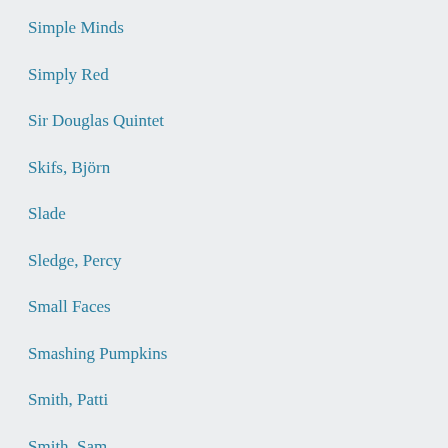Simple Minds
Simply Red
Sir Douglas Quintet
Skifs, Björn
Slade
Sledge, Percy
Small Faces
Smashing Pumpkins
Smith, Patti
Smith, Sam